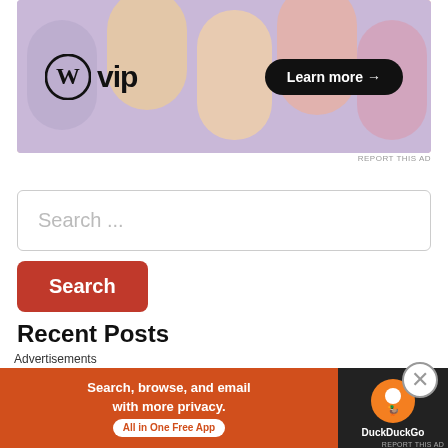[Figure (screenshot): WordPress VIP advertisement banner with colorful abstract shapes background, showing WordPress logo, 'vip' text, and a 'Learn more →' black pill button]
REPORT THIS AD
[Figure (screenshot): Search input box with placeholder text 'Search ...' and a red Search button below]
Recent Posts
Just In: India's tennis star #SaniaMirza has
[Figure (screenshot): Bottom advertisement banner: DuckDuckGo ad reading 'Search, browse, and email with more privacy. All in One Free App' on orange background with DuckDuckGo logo on dark right panel]